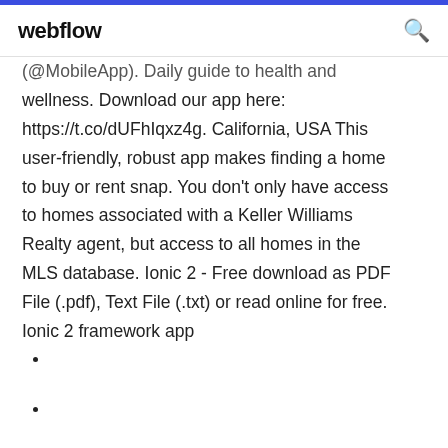webflow
(@MobileApp). Daily guide to health and wellness. Download our app here: https://t.co/dUFhIqxz4g. California, USA This user-friendly, robust app makes finding a home to buy or rent snap. You don't only have access to homes associated with a Keller Williams Realty agent, but access to all homes in the MLS database. Ionic 2 - Free download as PDF File (.pdf), Text File (.txt) or read online for free. Ionic 2 framework app